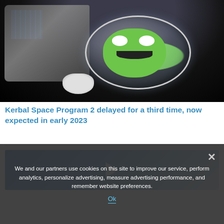[Figure (photo): Kerbal Space Program 2 promotional image showing a Kerbal astronaut in a spacesuit helmet with wide open mouth, floating in space near a spacecraft with solar panels, against a dark space background.]
Kerbal Space Program 2 delayed for a third time, now expected in early 2023
[Figure (photo): Partial screenshot of a video thumbnail with blue background and a white play button icon, partially visible.]
We and our partners use cookies on this site to improve our service, perform analytics, personalize advertising, measure advertising performance, and remember website preferences.
Ok